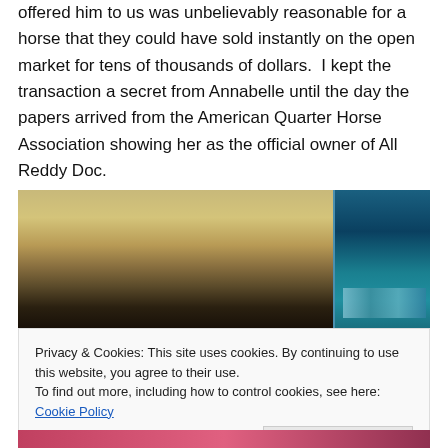offered him to us was unbelievably reasonable for a horse that they could have sold instantly on the open market for tens of thousands of dollars.  I kept the transaction a secret from Annabelle until the day the papers arrived from the American Quarter Horse Association showing her as the official owner of All Reddy Doc.
[Figure (photo): Photo of a blonde child or person, partially visible from above, with a fish tank/aquarium visible on the right side of the image.]
Privacy & Cookies: This site uses cookies. By continuing to use this website, you agree to their use.
To find out more, including how to control cookies, see here: Cookie Policy
[Figure (photo): Partial photo visible at bottom of page, showing colorful fabric or clothing in red/pink tones.]